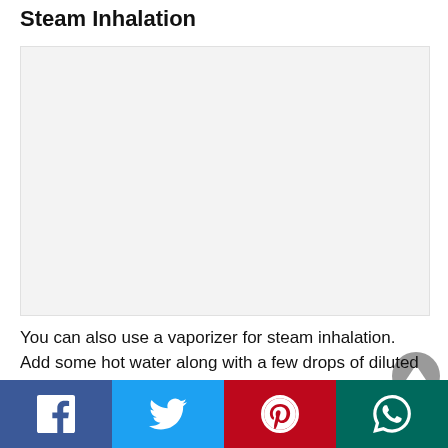Steam Inhalation
[Figure (photo): Placeholder image area for steam inhalation visual content (light gray background)]
You can also use a vaporizer for steam inhalation. Add some hot water along with a few drops of diluted Eucalyptus oil in the vaporizer. You can
[Figure (other): Social media sharing bar with Facebook, Twitter, Pinterest, and WhatsApp buttons]